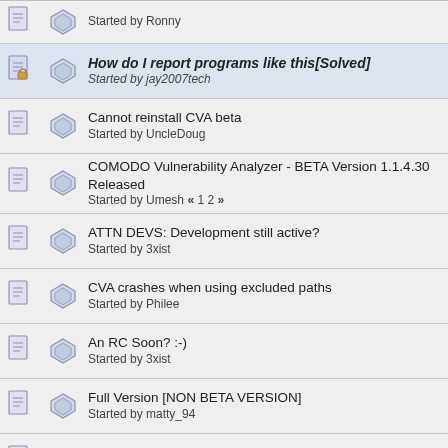Started by Ronny
How do I report programs like this[Solved]
Started by jay2007tech
Cannot reinstall CVA beta
Started by UncleDoug
COMODO Vulnerability Analyzer - BETA Version 1.1.4.30 Released
Started by Umesh « 1 2 »
ATTN DEVS: Development still active?
Started by 3xist
CVA crashes when using excluded paths
Started by Philee
An RC Soon? :-)
Started by 3xist
Full Version [NON BETA VERSION]
Started by matty_94
Portable Version
Started by Graham1
Why does CVA show update available for RealPlayer?
Started by SilentMusic7
ERROR: [0x00000003]Local DB corrupted